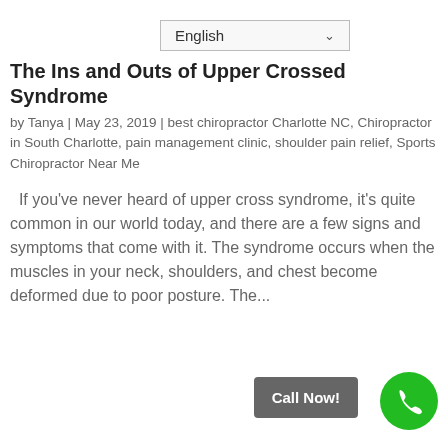[Figure (screenshot): Language selector dropdown showing 'English' with a chevron arrow]
The Ins and Outs of Upper Crossed Syndrome
by Tanya | May 23, 2019 | best chiropractor Charlotte NC, Chiropractor in South Charlotte, pain management clinic, shoulder pain relief, Sports Chiropractor Near Me
If you've never heard of upper cross syndrome, it's quite common in our world today, and there are a few signs and symptoms that come with it. The syndrome occurs when the muscles in your neck, shoulders, and chest become deformed due to poor posture. The...